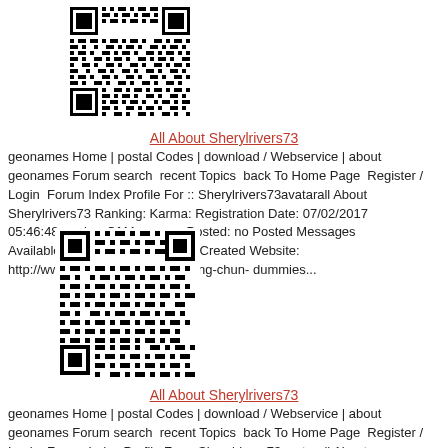[Figure (other): QR code image, black and white pixelated matrix barcode]
All About Sherylrivers73
geonames Home | postal Codes | download / Webservice | about geonames Forum search  recent Topics  back To Home Page  Register /  Login  Forum Index Profile For :: Sherylrivers73avatarall About Sherylrivers73 Ranking: Karma: Registration Date: 07/02/2017 05:46:48number Of Messages Posted: no Posted Messages Availablecreated Topics:no Topic Created Website: http://www.mykaratestore.com/wing-chun-dummies...
[Figure (other): QR code image, black and white pixelated matrix barcode]
All About Sherylrivers73
geonames Home | postal Codes | download / Webservice | about geonames Forum search  recent Topics  back To Home Page  Register /  Login  Forum Index Profile For :: Sherylrivers73avatarall About Sherylrivers73 Ranking: Karma: Registration Date: 07/02/2017 05:46:48number Of Messages Posted: no Posted Messages Availablecreated Topics:no Topic Created Website: http://www.mykaratestore.com/wing-chun-